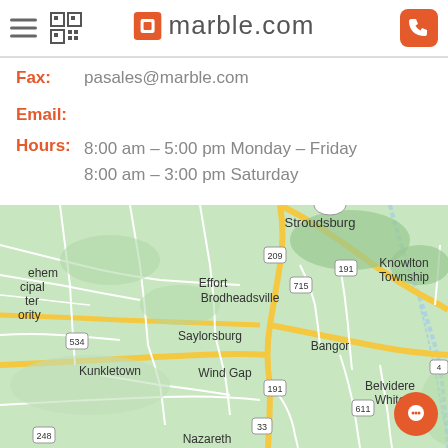marble.com
Fax: pasales@marble.com
Email:
Hours: 8:00 am - 5:00 pm Monday – Friday
8:00 am - 3:00 pm Saturday
[Figure (map): Google Maps view showing Stroudsburg, Effort, Brodheadsville, Saylorsburg, Bangor, Wind Gap, Kunkletown, Belvidere White, Nazareth area in Pennsylvania/New Jersey. Roads 209, 715, 534, 191, 611, 248, 33 visible. Knowlton Township shown at upper right.]